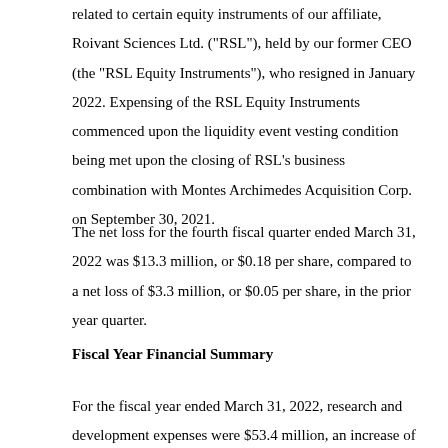related to certain equity instruments of our affiliate, Roivant Sciences Ltd. ("RSL"), held by our former CEO (the "RSL Equity Instruments"), who resigned in January 2022. Expensing of the RSL Equity Instruments commenced upon the liquidity event vesting condition being met upon the closing of RSL's business combination with Montes Archimedes Acquisition Corp. on September 30, 2021.
The net loss for the fourth fiscal quarter ended March 31, 2022 was $13.3 million, or $0.18 per share, compared to a net loss of $3.3 million, or $0.05 per share, in the prior year quarter.
Fiscal Year Financial Summary
For the fiscal year ended March 31, 2022, research and development expenses were $53.4 million, an increase of $28.5 million compared to